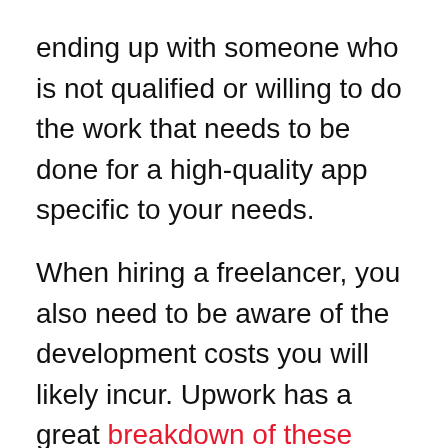ending up with someone who is not qualified or willing to do the work that needs to be done for a high-quality app specific to your needs.
When hiring a freelancer, you also need to be aware of the development costs you will likely incur. Upwork has a great breakdown of these costs, showing that it tends to take more hours to develop an iOS app compared to Android.